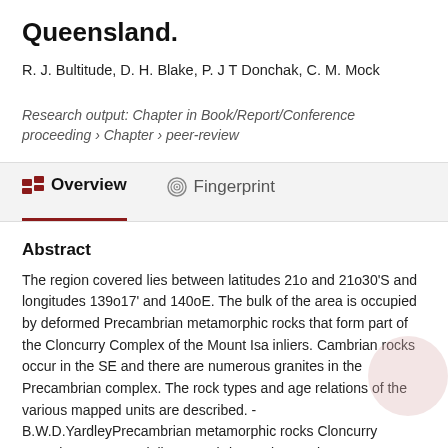Queensland.
R. J. Bultitude, D. H. Blake, P. J T Donchak, C. M. Mock
Research output: Chapter in Book/Report/Conference proceeding › Chapter › peer-review
Overview
Fingerprint
Abstract
The region covered lies between latitudes 21o and 21o30'S and longitudes 139o17' and 140oE. The bulk of the area is occupied by deformed Precambrian metamorphic rocks that form part of the Cloncurry Complex of the Mount Isa inliers. Cambrian rocks occur in the SE and there are numerous granites in the Precambrian complex. The rock types and age relations of the various mapped units are described. - B.W.D.YardleyPrecambrian metamorphic rocks Cloncurry Complex Mount Isa inliers Cambrian rocks granites